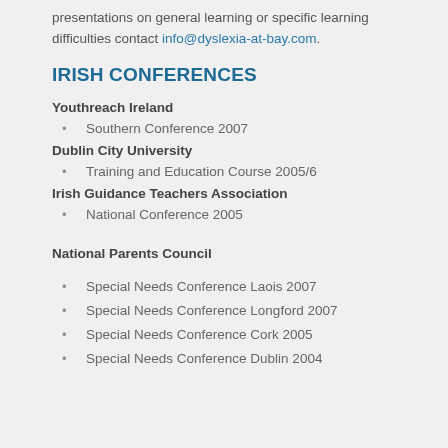presentations on general learning or specific learning difficulties contact info@dyslexia-at-bay.com.
IRISH CONFERENCES
Youthreach Ireland
Southern Conference 2007
Dublin City University
Training and Education Course 2005/6
Irish Guidance Teachers Association
National Conference 2005
National Parents Council
Special Needs Conference Laois 2007
Special Needs Conference Longford 2007
Special Needs Conference Cork 2005
Special Needs Conference Dublin 2004